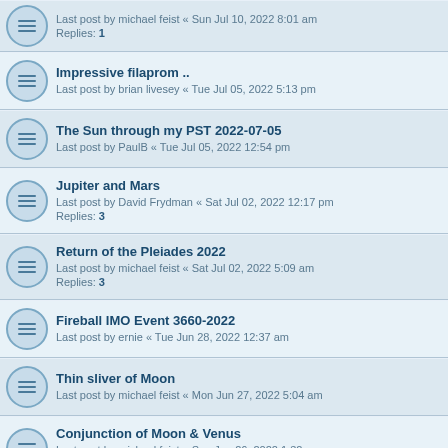Last post by michael feist « Sun Jul 10, 2022 8:01 am
Replies: 1
Impressive filaprom ..
Last post by brian livesey « Tue Jul 05, 2022 5:13 pm
The Sun through my PST 2022-07-05
Last post by PaulB « Tue Jul 05, 2022 12:54 pm
Jupiter and Mars
Last post by David Frydman « Sat Jul 02, 2022 12:17 pm
Replies: 3
Return of the Pleiades 2022
Last post by michael feist « Sat Jul 02, 2022 5:09 am
Replies: 3
Fireball IMO Event 3660-2022
Last post by ernie « Tue Jun 28, 2022 12:37 am
Thin sliver of Moon
Last post by michael feist « Mon Jun 27, 2022 5:04 am
Conjunction of Moon & Venus
Last post by michael feist « Sun Jun 26, 2022 1:32 pm
Replies: 1
Planetary conjunction 24/06/22
Last post by AndyF « Fri Jun 24, 2022 10:39 am
Replies: 1
Moon, Mars & Jupiter together
Last post by michael feist « Wed Jun 22, 2022 6:24 am
Summer Solstice morn. 2022.